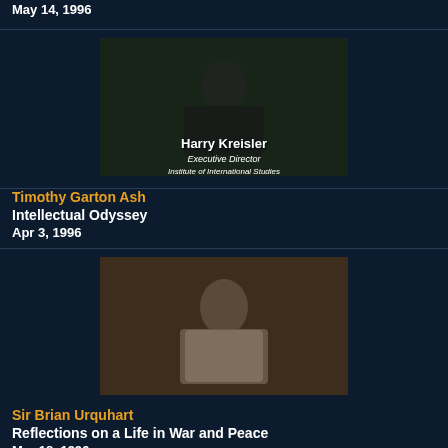May 14, 1996
[Figure (photo): Video thumbnail showing Harry Kreisler, Executive Director, Institute of International Studies]
Timothy Garton Ash
Intellectual Odyssey
Apr 3, 1996
[Figure (photo): Video thumbnail showing an elderly man in a tan blazer]
Sir Brian Urquhart
Reflections on a Life in War and Peace
Mar 18, 1996
[Figure (photo): Partial video thumbnail at bottom of page]